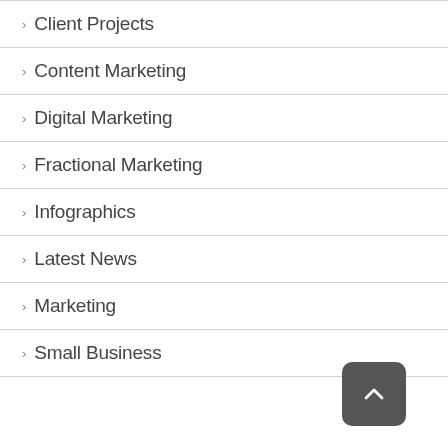> Client Projects
> Content Marketing
> Digital Marketing
> Fractional Marketing
> Infographics
> Latest News
> Marketing
> Small Business